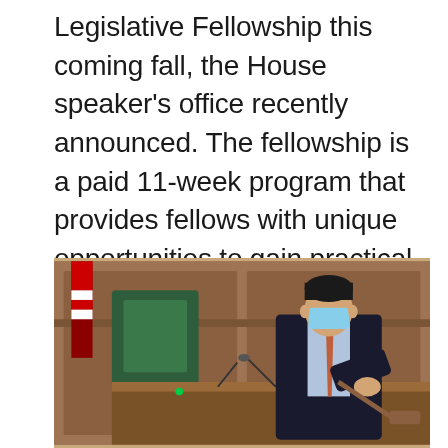Legislative Fellowship this coming fall, the House speaker's office recently announced. The fellowship is a paid 11-week program that provides fellows with unique opportunities to gain practical campaign and policy experience. The upcoming fellowship will be the fourth iteration of the program. The [...]
[Figure (photo): A man in a dark suit and blue face mask holding a wooden gavel at a legislative podium in a wood-paneled chamber, with an American flag partially visible in the background.]